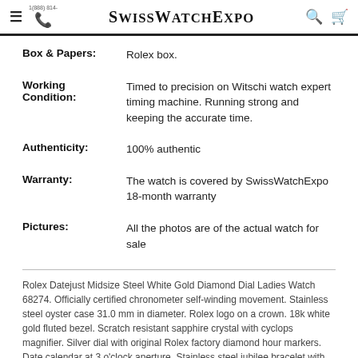SwissWatchExpo
| Label | Value |
| --- | --- |
| Box & Papers: | Rolex box. |
| Working Condition: | Timed to precision on Witschi watch expert timing machine. Running strong and keeping the accurate time. |
| Authenticity: | 100% authentic |
| Warranty: | The watch is covered by SwissWatchExpo 18-month warranty |
| Pictures: | All the photos are of the actual watch for sale |
Rolex Datejust Midsize Steel White Gold Diamond Dial Ladies Watch 68274. Officially certified chronometer self-winding movement. Stainless steel oyster case 31.0 mm in diameter. Rolex logo on a crown. 18k white gold fluted bezel. Scratch resistant sapphire crystal with cyclops magnifier. Silver dial with original Rolex factory diamond hour markers. Date calendar at 3 o'clock aperture. Stainless steel jubilee bracelet with fold over clasp. Fits 6 3/4" wrist.